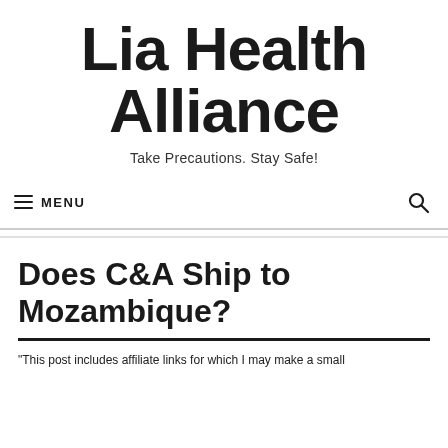Lia Health Alliance
Take Precautions. Stay Safe!
☰ MENU
Does C&A Ship to Mozambique?
"This post includes affiliate links for which I may make a small